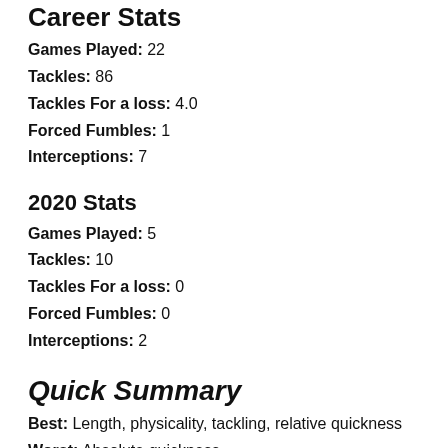Career Stats
Games Played: 22
Tackles: 86
Tackles For a loss: 4.0
Forced Fumbles: 1
Interceptions: 7
2020 Stats
Games Played: 5
Tackles: 10
Tackles For a loss: 0
Forced Fumbles: 0
Interceptions: 2
Quick Summary
Best: Length, physicality, tackling, relative quickness
Worst: Absolute quickness